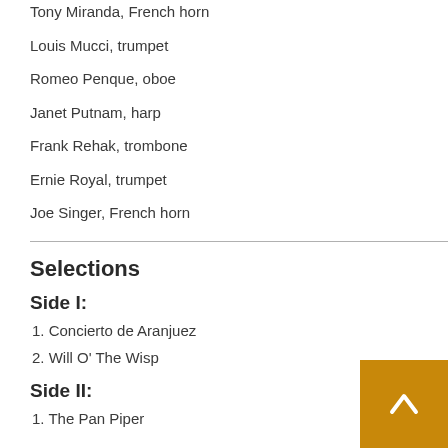Tony Miranda, French horn
Louis Mucci, trumpet
Romeo Penque, oboe
Janet Putnam, harp
Frank Rehak, trombone
Ernie Royal, trumpet
Joe Singer, French horn
Selections
Side I:
1. Concierto de Aranjuez
2. Will O' The Wisp
Side II:
1. The Pan Piper